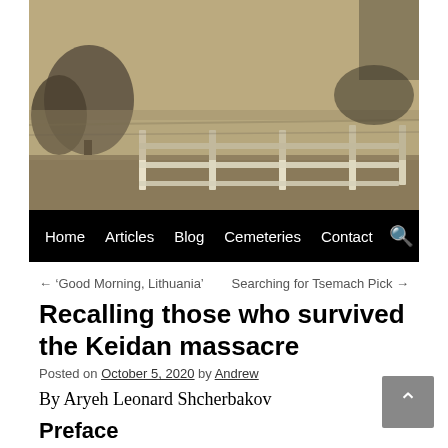[Figure (photo): Sepia-toned photograph showing a wooden fence with posts and rails in a rural/outdoor setting with trees and landscape in the background.]
Home   Articles   Blog   Cemeteries   Contact
← 'Good Morning, Lithuania'          Searching for Tsemach Pick →
Recalling those who survived the Keidan massacre
Posted on October 5, 2020 by Andrew
By Aryeh Leonard Shcherbakov
Preface
When talking of the Jews of Keidan, the first who